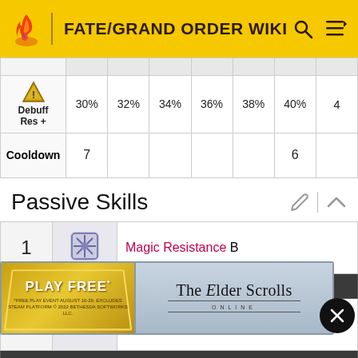FATE/GRAND ORDER WIKI
|  | 1 | 2 | 3 | 4 | 5 | 6 | 7... |
| --- | --- | --- | --- | --- | --- | --- | --- |
| Debuff Res + | 30% | 32% | 34% | 36% | 38% | 40% | ... |
| Cooldown | 7 |  |  |  |  | 6 |  |
Passive Skills
| # | Icon | Name |
| --- | --- | --- |
| 1 | [icon] | Magic Resistance B |
|  |  | Increases own debuff resistance by 17.5%. |
| 2 | [icon] |  |
|  |  | Increases own Quick performance by 10%. |
[Figure (screenshot): Advertisement banner for The Elder Scrolls Online: PLAY FREE event August 16-29]